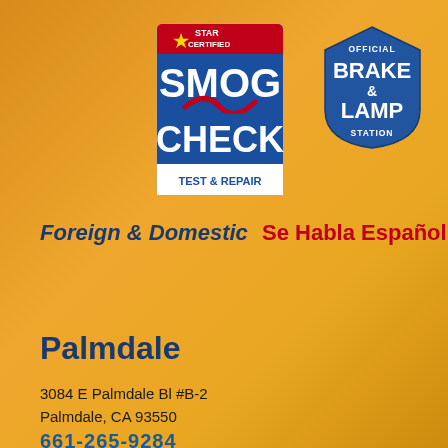[Figure (logo): Star Certified Smog Check Test & Repair badge - red, white, blue rectangular badge with star logo]
[Figure (logo): Official Brake & Lamp Station badge - blue pentagon/shield shaped badge]
Foreign & Domestic
Se Habla Español
Palmdale
3084 E Palmdale Bl #B-2
Palmdale, CA 93550
661-265-9284